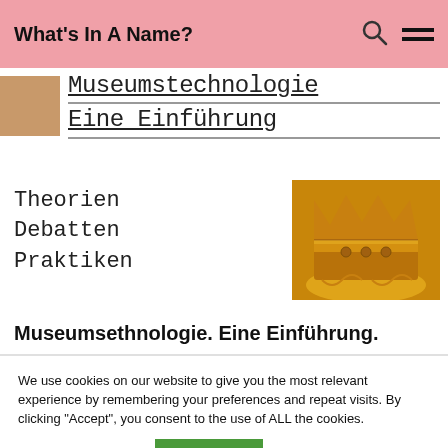What's In A Name?
Museumstechnologie Eine Einführung
Theorien
Debatten
Praktiken
[Figure (photo): A golden crown-like ornament with decorative chains on an amber/yellow background]
Museumsethnologie. Eine Einführung.
We use cookies on our website to give you the most relevant experience by remembering your preferences and repeat visits. By clicking "Accept", you consent to the use of ALL the cookies.
Cookie settings   ACCEPT